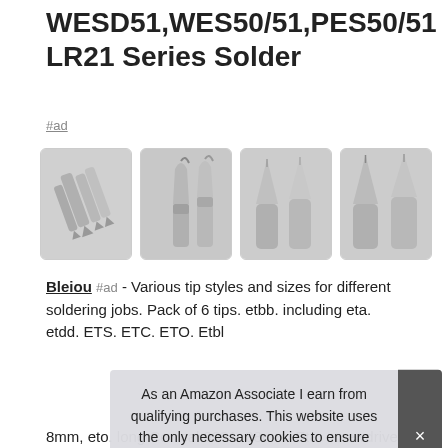WESD51,WES50/51,PES50/51 LR21 Series Solder
#ad
[Figure (photo): Four product photos showing solder tip sets for soldering irons: group of tips, angled tip, conical tips, and pointed tips]
Bleiou #ad - Various tip styles and sizes for different soldering jobs. Pack of 6 tips. etbb. including eta. etdd. ETS. ETC. ETO. Etbl
As an Amazon Associate I earn from qualifying purchases. This website uses the only necessary cookies to ensure you get the best experience on our website. More information
8mm, eto. long Conical 0031  08mm. Eta. screwdriver 0062  T.